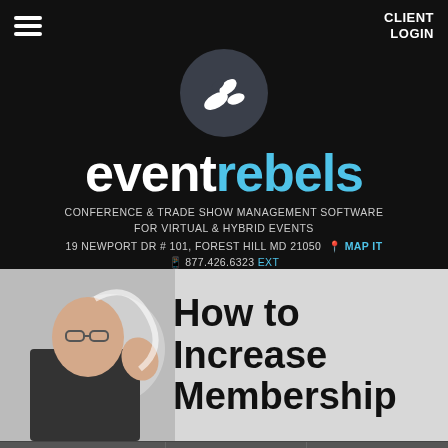CLIENT LOGIN
[Figure (logo): Event Rebels logo: circular dark badge with stylized white paper/hand wave icon, company name 'event rebels' in white and light blue]
event rebels
CONFERENCE & TRADE SHOW MANAGEMENT SOFTWARE FOR VIRTUAL & HYBRID EVENTS
19 NEWPORT DR # 101, FOREST HILL MD 21050  MAP IT
877.426.6323 EXT
[Figure (photo): Man in dark jacket gesturing expressively while speaking, with a circular graphic element behind him]
How to Increase Membership
GET A DEMO
CALL US
CHAT WITH US